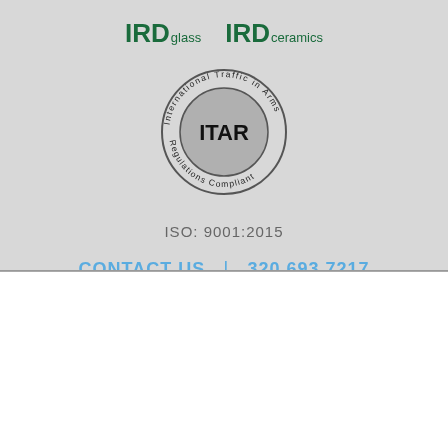[Figure (logo): IRD glass and IRD ceramics logos side by side in dark green text]
[Figure (logo): ITAR International Traffic in Arms Regulations Compliant circular seal with grey center]
ISO: 9001:2015
CONTACT US  |  320.693.7217
Glass Components
Glass Components
Laser Homogenizers and Light Pipes
Custom Laser Optics
Medical Glass
Technical Glass Components